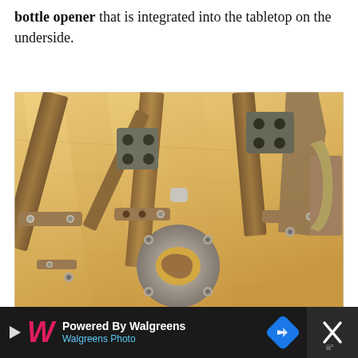bottle opener that is integrated into the tabletop on the underside.
[Figure (photo): Close-up photo of the underside of a bamboo tabletop showing metal table leg brackets with screws, and a round integrated bottle opener flush-mounted in the bamboo surface.]
The bottle opener on the underside
[Figure (advertisement): Powered By Walgreens / Walgreens Photo ad banner with Walgreens W logo, a blue direction diamond icon, and a close button with X icon on dark background.]